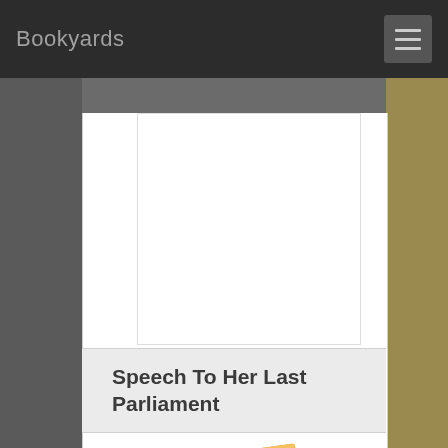Bookyards
[Figure (other): Advertisement placeholder area, white rectangle with border]
Speech To Her Last Parliament
[Figure (illustration): Stack of orange/tan colored books illustration]